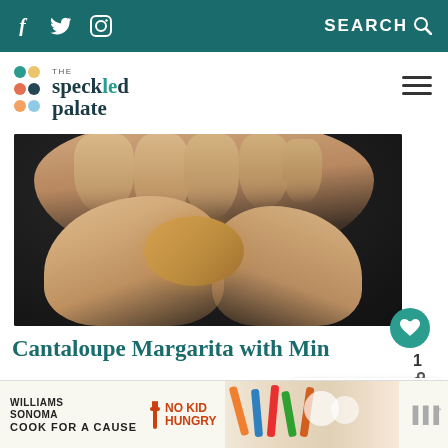f [twitter] [instagram]    SEARCH
[Figure (logo): The Speckled Palate logo with colorful dots and text]
[Figure (photo): Close-up of hands holding a small round fruit or object against a dark background]
Cantaloupe Margarita with Min
WHAT'S NEXT → Cucumber Margarita
[Figure (photo): Williams Sonoma No Kid Hungry Cook for a Cause advertisement banner with colorful kitchen utensils]